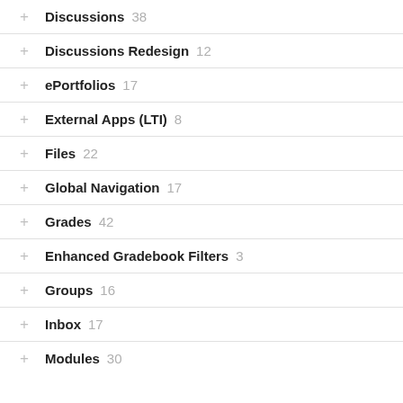Discussions 38
Discussions Redesign 12
ePortfolios 17
External Apps (LTI) 8
Files 22
Global Navigation 17
Grades 42
Enhanced Gradebook Filters 3
Groups 16
Inbox 17
Modules 30